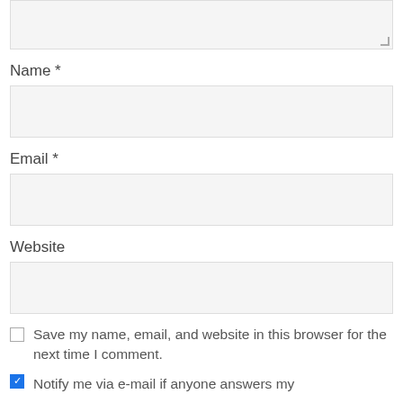[Figure (screenshot): A partially visible textarea input field with a resize handle in the bottom-right corner, showing a light gray background with a thin border.]
Name *
[Figure (screenshot): An empty text input field for Name with a light gray background and thin border.]
Email *
[Figure (screenshot): An empty text input field for Email with a light gray background and thin border.]
Website
[Figure (screenshot): An empty text input field for Website with a light gray background and thin border.]
Save my name, email, and website in this browser for the next time I comment.
Notify me via e-mail if anyone answers my